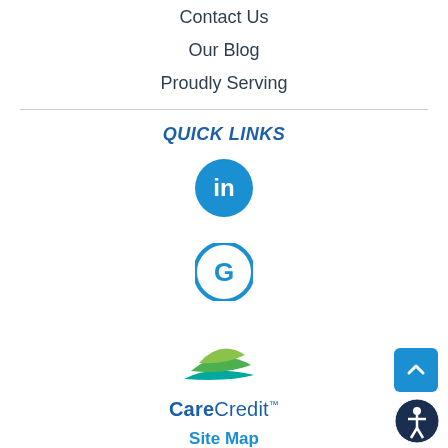Contact Us
Our Blog
Proudly Serving
QUICK LINKS
[Figure (logo): LinkedIn circular blue icon with 'in' white text]
[Figure (logo): Google circular blue icon with 'G' white text]
[Figure (logo): CareCredit logo with green leaf/swoosh graphic above and 'CareCredit' bold text]
Site Map
[Figure (other): Blue back-to-top button with upward chevron arrow]
[Figure (other): Accessibility icon button - dark circle with person symbol]